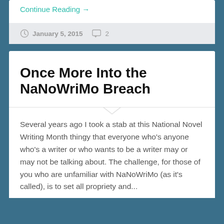Continue Reading →
January 5, 2015   2
Once More Into the NaNoWriMo Breach
Several years ago I took a stab at this National Novel Writing Month thingy that everyone who's anyone who's a writer or who wants to be a writer may or may not be talking about. The challenge, for those of you who are unfamiliar with NaNoWriMo (as it's called), is to set all propriety and...